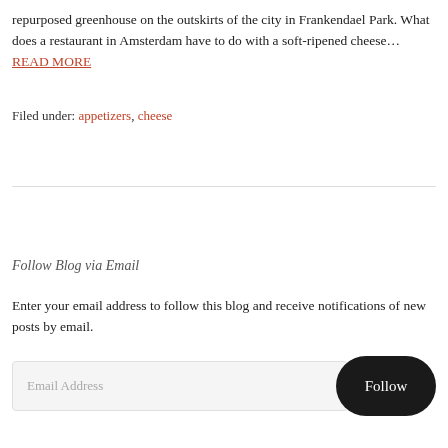repurposed greenhouse on the outskirts of the city in Frankendael Park. What does a restaurant in Amsterdam have to do with a soft-ripened cheese... READ MORE
Filed under: appetizers, cheese
Follow Blog via Email
Enter your email address to follow this blog and receive notifications of new posts by email.